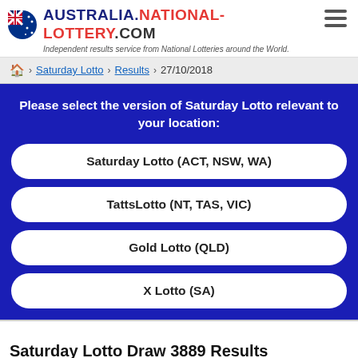AUSTRALIA.NATIONAL-LOTTERY.COM — Independent results service from National Lotteries around the World.
🏠 > Saturday Lotto > Results > 27/10/2018
Please select the version of Saturday Lotto relevant to your location:
Saturday Lotto (ACT, NSW, WA)
TattsLotto (NT, TAS, VIC)
Gold Lotto (QLD)
X Lotto (SA)
Saturday Lotto Draw 3889 Results